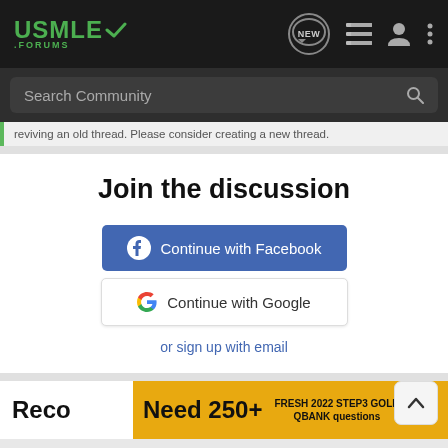[Figure (screenshot): USMLE Forums navigation bar with logo, NEW button, list icon, user icon, and more options icon on dark background]
[Figure (screenshot): Search Community search bar on dark background]
reviving an old thread. Please consider creating a new thread.
Join the discussion
[Figure (screenshot): Continue with Facebook button (blue) and Continue with Google button (white) for login options]
or sign up with email
Reco
Need 250+
FRESH 2022 STEP3 GOLD QBANK questions